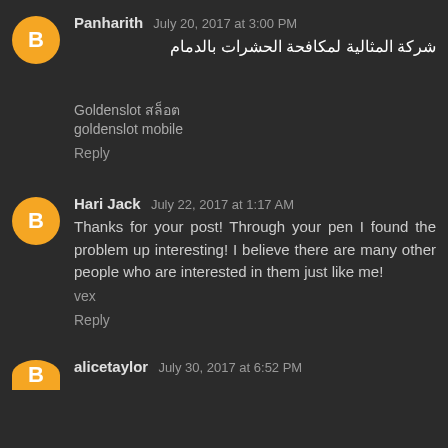Panharith  July 20, 2017 at 3:00 PM
شركة المثالية لمكافحة الحشرات بالدمام
Goldenslot สล็อต
goldenslot mobile
Reply
Hari Jack  July 22, 2017 at 1:17 AM
Thanks for your post! Through your pen I found the problem up interesting! I believe there are many other people who are interested in them just like me!
vex
Reply
alicetaylor  July 30, 2017 at 6:52 PM